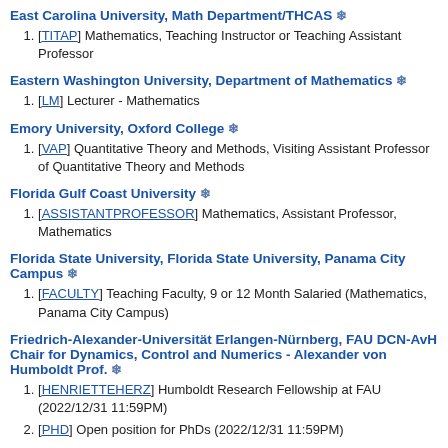East Carolina University, Math Department/THCAS ❄
[TITAP] Mathematics, Teaching Instructor or Teaching Assistant Professor
Eastern Washington University, Department of Mathematics ❄
[LM] Lecturer - Mathematics
Emory University, Oxford College ❄
[VAP] Quantitative Theory and Methods, Visiting Assistant Professor of Quantitative Theory and Methods
Florida Gulf Coast University ❄
[ASSISTANTPROFESSOR] Mathematics, Assistant Professor, Mathematics
Florida State University, Florida State University, Panama City Campus ❄
[FACULTY] Teaching Faculty, 9 or 12 Month Salaried (Mathematics, Panama City Campus)
Friedrich-Alexander-Universität Erlangen-Nürnberg, FAU DCN-AvH Chair for Dynamics, Control and Numerics - Alexander von Humboldt Prof. ❄
[HENRIETTEHERZ] Humboldt Research Fellowship at FAU (2022/12/31 11:59PM)
[PHD] Open position for PhDs (2022/12/31 11:59PM)